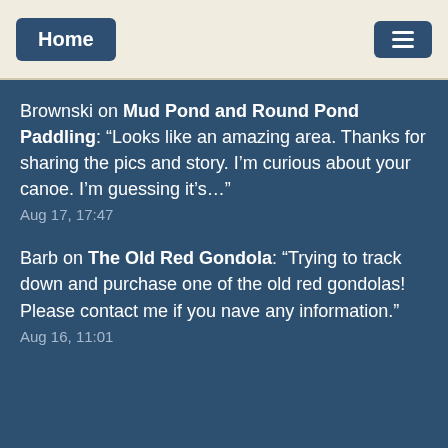Home
Brownski on Mud Pond and Round Pond Paddling: “Looks like an amazing area. Thanks for sharing the pics and story. I’m curious about your canoe. I’m guessing it’s…”
Aug 17, 17:47
Barb on The Old Red Gondola: “Trying to track down and purchase one of the old red gondolas! Please contact me if you nave any information.”
Aug 16, 11:01